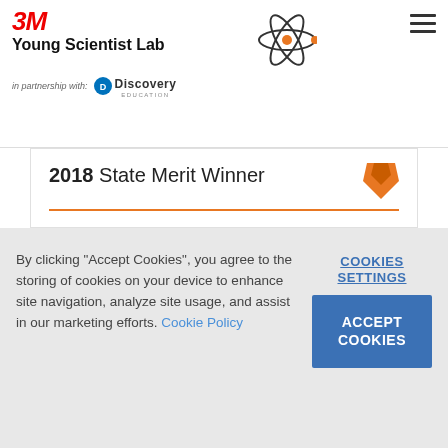3M Young Scientist Lab in partnership with Discovery Education
2018 State Merit Winner
8th grade
Kentucky
By clicking "Accept Cookies", you agree to the storing of cookies on your device to enhance site navigation, analyze site usage, and assist in our marketing efforts. Cookie Policy
COOKIES SETTINGS
ACCEPT COOKIES